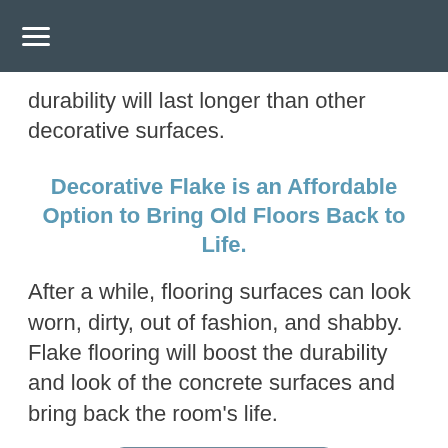☰
durability will last longer than other decorative surfaces.
Decorative Flake is an Affordable Option to Bring Old Floors Back to Life.
After a while, flooring surfaces can look worn, dirty, out of fashion, and shabby. Flake flooring will boost the durability and look of the concrete surfaces and bring back the room's life.
CALL NOW
The best part: Decorative flake is a very